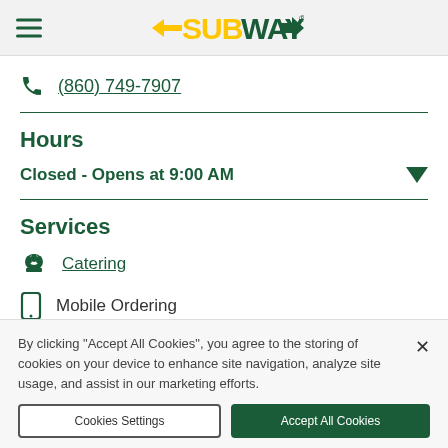SUBWAY
(860) 749-7907
Hours
Closed - Opens at 9:00 AM
Services
Catering
Mobile Ordering
By clicking "Accept All Cookies", you agree to the storing of cookies on your device to enhance site navigation, analyze site usage, and assist in our marketing efforts.